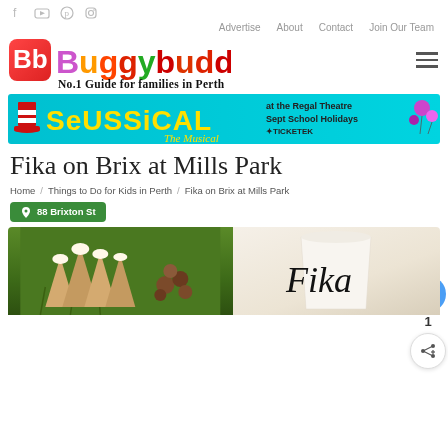Social media icons: Facebook, YouTube, Pinterest, Instagram
Advertise / About / Contact / Join Our Team
[Figure (logo): BuggyBuddys logo with Bb icon, colorful text 'BuggyBuddys', and tagline 'No.1 Guide for families in Perth']
[Figure (screenshot): Seussical The Musical advertisement banner - at the Regal Theatre, Sept School Holidays, Ticketek]
Fika on Brix at Mills Park
Home / Things to Do for Kids in Perth / Fika on Brix at Mills Park
88 Brixton St
[Figure (photo): Photo showing pastries/cones and chocolate balls on grass background, with a white cup branded 'Fika' in script writing]